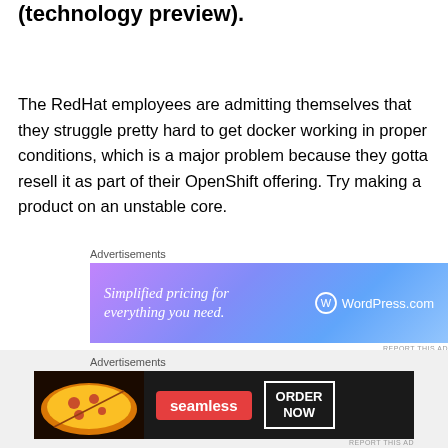(technology preview).
The RedHat employees are admitting themselves that they struggle pretty hard to get docker working in proper conditions, which is a major problem because they gotta resell it as part of their OpenShift offering. Try making a product on an unstable core.
[Figure (other): WordPress.com advertisement banner: 'Simplified pricing for everything you need.' with WordPress.com logo on gradient purple-blue background]
If you like playing with fire, it looks like that's the OS of choice.
[Figure (other): Seamless food delivery advertisement banner with pizza image, Seamless logo in red, and ORDER NOW button on dark background]